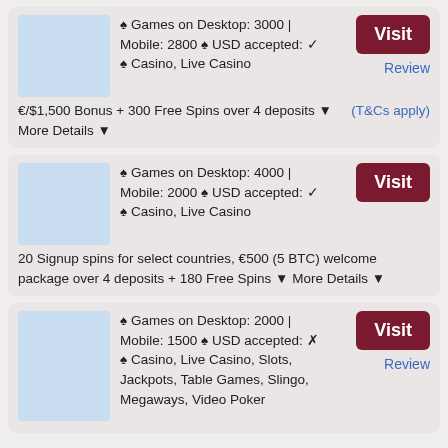♠ Games on Desktop: 3000 | Mobile: 2800 ♠ USD accepted: ✓ ♠ Casino, Live Casino
Visit
Review
€/$1,500 Bonus + 300 Free Spins over 4 deposits ▼ More Details ▼ (T&Cs apply)
♠ Games on Desktop: 4000 | Mobile: 2000 ♠ USD accepted: ✓ ♠ Casino, Live Casino
Visit
20 Signup spins for select countries, €500 (5 BTC) welcome package over 4 deposits + 180 Free Spins ▼ More Details ▼
♠ Games on Desktop: 2000 | Mobile: 1500 ♠ USD accepted: ✗ ♠ Casino, Live Casino, Slots, Jackpots, Table Games, Slingo, Megaways, Video Poker
Visit
Review